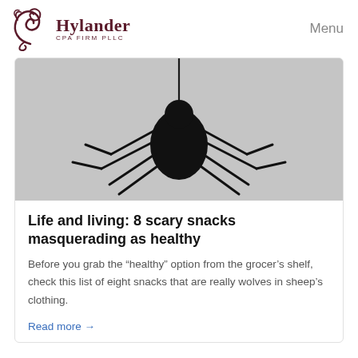Hylander CPA FIRM PLLC | Menu
[Figure (illustration): A black silhouette of a spider hanging from a thread against a gray background]
Life and living: 8 scary snacks masquerading as healthy
Before you grab the “healthy” option from the grocer’s shelf, check this list of eight snacks that are really wolves in sheep’s clothing.
Read more →